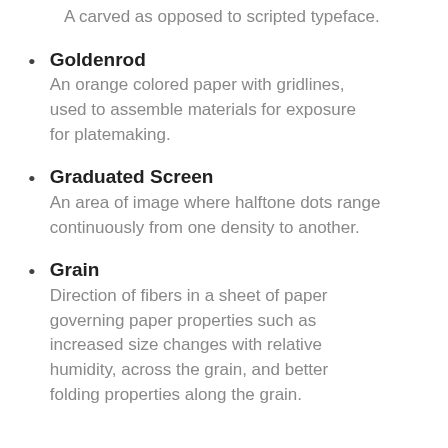A carved as opposed to scripted typeface.
Goldenrod
An orange colored paper with gridlines, used to assemble materials for exposure for platemaking.
Graduated Screen
An area of image where halftone dots range continuously from one density to another.
Grain
Direction of fibers in a sheet of paper governing paper properties such as increased size changes with relative humidity, across the grain, and better folding properties along the grain.